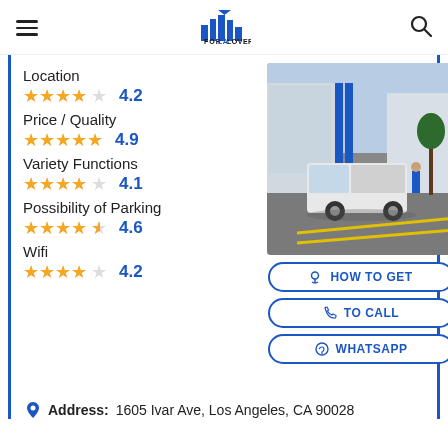FOR LA LOVERS
Location
★★★★☆ 4.2
Price / Quality
★★★★★ 4.9
Variety Functions
★★★★☆ 4.1
Possibility of Parking
★★★★½ 4.6
Wifi
★★★★☆ 4.2
[Figure (photo): Street photo showing a white van parked in front of a building with blue accents in Los Angeles]
HOW TO GET
TO CALL
WHATSAPP
Address: 1605 Ivar Ave, Los Angeles, CA 90028